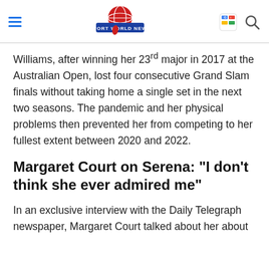Sport World News
Williams, after winning her 23rd major in 2017 at the Australian Open, lost four consecutive Grand Slam finals without taking home a single set in the next two seasons. The pandemic and her physical problems then prevented her from competing to her fullest extent between 2020 and 2022.
Margaret Court on Serena: "I don't think she ever admired me"
In an exclusive interview with the Daily Telegraph newspaper, Margaret Court talked about her about